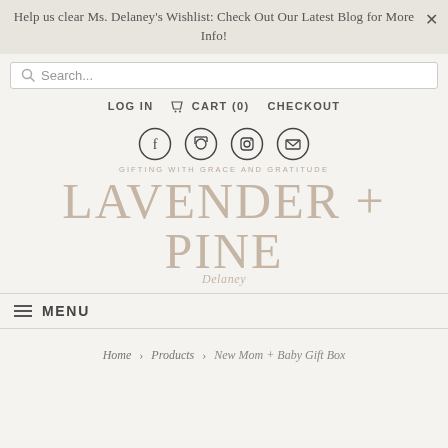Help us clear Ms. Delaney's Wishlist: Check Out Our Latest Blog for More Info!
Search...
LOG IN  CART (0)  CHECKOUT
[Figure (other): Social media icons: Facebook, Pinterest, Instagram, Email]
GIFTING WITH GRACE AND GRATITUDE
LAVENDER + PINE
Delaney
≡ MENU
Home > Products > New Mom + Baby Gift Box